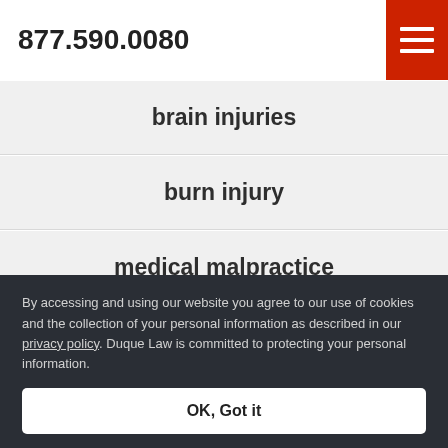877.590.0080
brain injuries
burn injury
medical malpractice
elder abuse and neglect
bus accidents
By accessing and using our website you agree to our use of cookies and the collection of your personal information as described in our privacy policy. Duque Law is committed to protecting your personal information.
OK, Got it